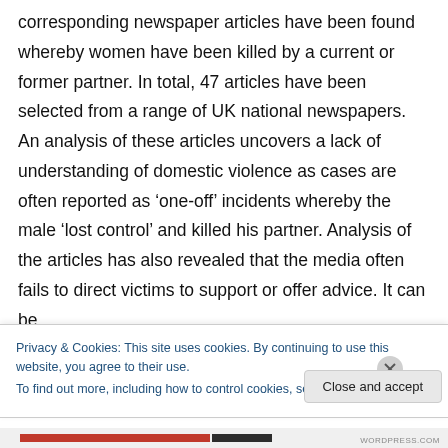corresponding newspaper articles have been found whereby women have been killed by a current or former partner. In total, 47 articles have been selected from a range of UK national newspapers. An analysis of these articles uncovers a lack of understanding of domestic violence as cases are often reported as ‘one-off’ incidents whereby the male ‘lost control’ and killed his partner. Analysis of the articles has also revealed that the media often fails to direct victims to support or offer advice. It can be
Privacy & Cookies: This site uses cookies. By continuing to use this website, you agree to their use.
To find out more, including how to control cookies, see here: Cookie Policy